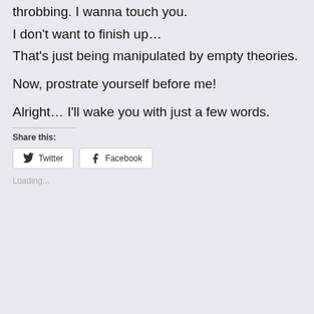throbbing. I wanna touch you.
I don't want to finish up…
That's just being manipulated by empty theories.
Now, prostrate yourself before me!
Alright… I'll wake you with just a few words.
Share this:
Twitter
Facebook
Loading...